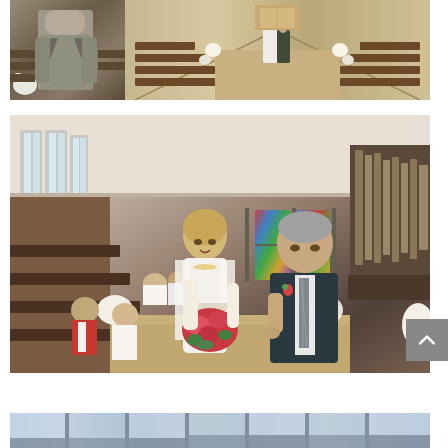[Figure (photo): Two wedding ceremony photos side by side: left shows groom waiting at altar in grey suit, right shows bride walking down aisle escorted by father in a church with wooden pews and floral decorations]
[Figure (photo): Bride smiling and walking down the church aisle escorted by her father, holding a bouquet of red and pink flowers, stained glass windows visible in background, wedding guests seated in pews]
[Figure (photo): Partial view of church interior showing tall windows with light streaming in]